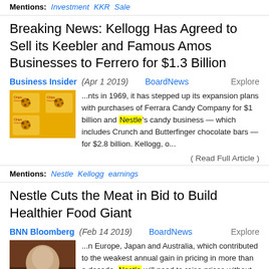Mentions: Investment KKR Sale
Breaking News: Kellogg Has Agreed to Sell its Keebler and Famous Amos Businesses to Ferrero for $1.3 Billion
Business Insider (Apr 1 2019) BoardNews Explore
...nts in 1969, it has stepped up its expansion plans with purchases of Ferrara Candy Company for $1 billion and Nestle's candy business — which includes Crunch and Butterfinger chocolate bars — for $2.8 billion. Kellogg, o...
( Read Full Article )
Mentions: Nestle Kellogg earnings
Nestle Cuts the Meat in Bid to Build Healthier Food Giant
BNN Bloomberg (Feb 14 2019) BoardNews Explore
...n Europe, Japan and Australia, which contributed to the weakest annual gain in pricing in more than a decade. Nestle will need to raise prices without turning off customers as Schneider seeks to return to mid-single-digi...